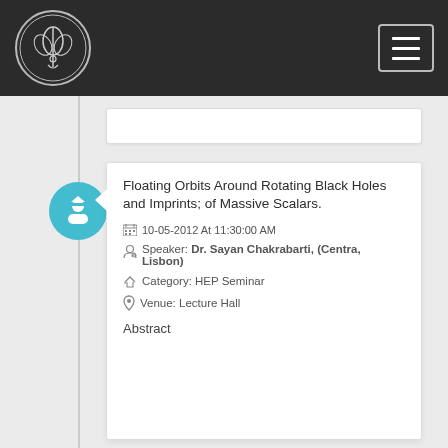Floating Orbits Around Rotating Black Holes and Imprints; of Massive Scalars.
10-05-2012 At 11:30:00 AM
Speaker: Dr. Sayan Chakrabarti, (Centra, Lisbon)
Category: HEP Seminar
Venue: Lecture Hall
Abstract
Mass Formulae for Nuclei
11-05-2012 At 04:00:00 PM